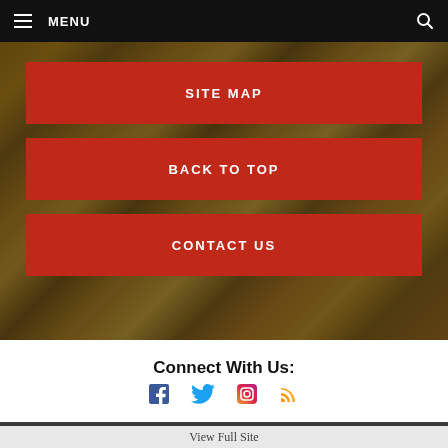MENU
SITE MAP
BACK TO TOP
CONTACT US
Connect With Us:
[Figure (infographic): Social media icons: Facebook, Twitter, Instagram, RSS feed]
Posts/tweets on the DVSD Facebook page and/or Twitter account by
View Full Site